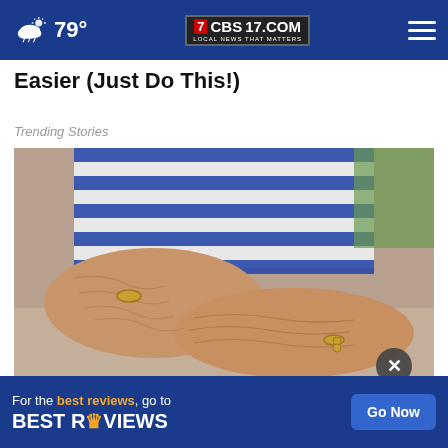79° CBS17.COM LOCAL NEWS THAT MATTERS
Easier (Just Do This!)
Trending Stories
[Figure (photo): Close-up of elderly person's wrinkled arms crossed, wearing a striped blue and white shirt, with a gold bracelet visible. Background shows green grass.]
Top ... Ski...
[Figure (other): Advertisement banner: 'For the best reviews, go to BESTREVIEWS' with a 'Go Now' button]